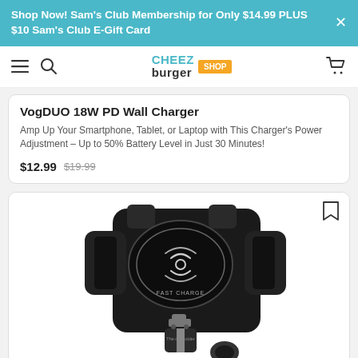Shop Now! Sam's Club Membership for Only $14.99 PLUS $10 Sam's Club E-Gift Card
[Figure (logo): Cheezburger Shop logo with navigation icons (hamburger menu, search, cart)]
VogDUO 18W PD Wall Charger
Amp Up Your Smartphone, Tablet, or Laptop with This Charger's Power Adjustment – Up to 50% Battery Level in Just 30 Minutes!
$12.99  $19.99
[Figure (photo): Black wireless fast-charge car phone mount/holder with wireless charging pad showing signal icon and 'FAST CHARGE' text, and a car icon at the bottom]